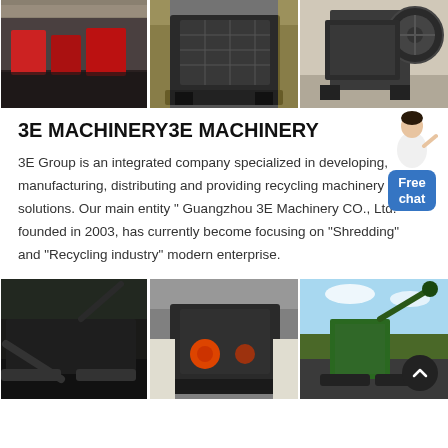[Figure (photo): Three side-by-side industrial machinery photos in a warehouse/factory setting showing crushing/recycling equipment]
3E MACHINERY3E MACHINERY
3E Group is an integrated company specialized in developing, manufacturing, distributing and providing recycling machinery solutions. Our main entity " Guangzhou 3E Machinery CO., Ltd." founded in 2003, has currently become focusing on "Shredding" and "Recycling industry" modern enterprise.
[Figure (photo): Three side-by-side photos of heavy industrial machinery and equipment in outdoor/warehouse settings]